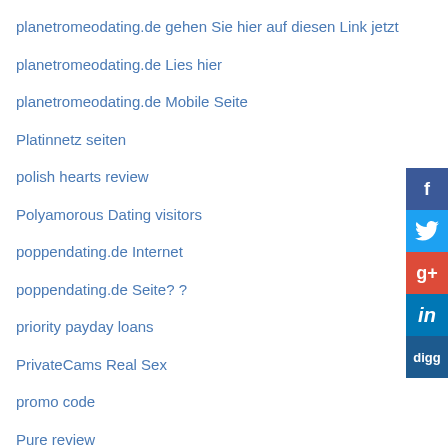planetromeodating.de gehen Sie hier auf diesen Link jetzt
planetromeodating.de Lies hier
planetromeodating.de Mobile Seite
Platinnetz seiten
polish hearts review
Polyamorous Dating visitors
poppendating.de Internet
poppendating.de Seite? ?
priority payday loans
PrivateCams Real Sex
promo code
Pure review
quick cash payday loans